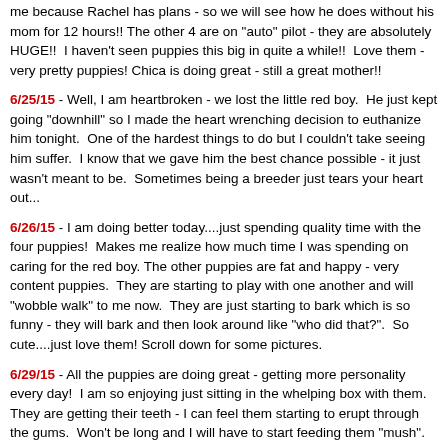me because Rachel has plans - so we will see how he does without his mom for 12 hours!! The other 4 are on "auto" pilot - they are absolutely HUGE!!  I haven't seen puppies this big in quite a while!!  Love them - very pretty puppies! Chica is doing great - still a great mother!!
6/25/15 - Well, I am heartbroken - we lost the little red boy.  He just kept going "downhill" so I made the heart wrenching decision to euthanize him tonight.  One of the hardest things to do but I couldn't take seeing him suffer.  I know that we gave him the best chance possible - it just wasn't meant to be.  Sometimes being a breeder just tears your heart out...
6/26/15 - I am doing better today....just spending quality time with the four puppies!  Makes me realize how much time I was spending on caring for the red boy. The other puppies are fat and happy - very content puppies.  They are starting to play with one another and will "wobble walk" to me now.  They are just starting to bark which is so funny - they will bark and then look around like "who did that?".  So cute....just love them! Scroll down for some pictures.
6/29/15 - All the puppies are doing great - getting more personality every day!  I am so enjoying just sitting in the whelping box with them.  They are getting their teeth - I can feel them starting to erupt through the gums.  Won't be long and I will have to start feeding them "mush".